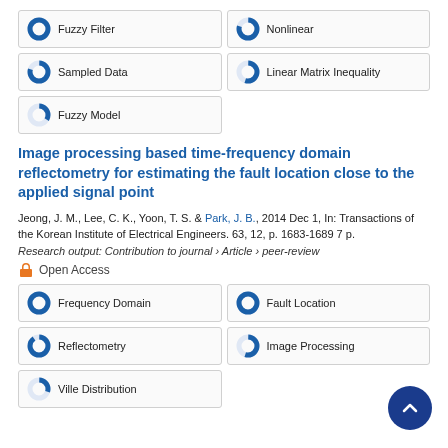Fuzzy Filter 100%
Nonlinear ~80%
Sampled Data ~80%
Linear Matrix Inequality ~55%
Fuzzy Model ~35%
Image processing based time-frequency domain reflectometry for estimating the fault location close to the applied signal point
Jeong, J. M., Lee, C. K., Yoon, T. S. & Park, J. B., 2014 Dec 1, In: Transactions of the Korean Institute of Electrical Engineers. 63, 12, p. 1683-1689 7 p.
Research output: Contribution to journal › Article › peer-review
Open Access
Frequency Domain 100%
Fault Location 100%
Reflectometry ~90%
Image Processing ~55%
Ville Distribution ~30%